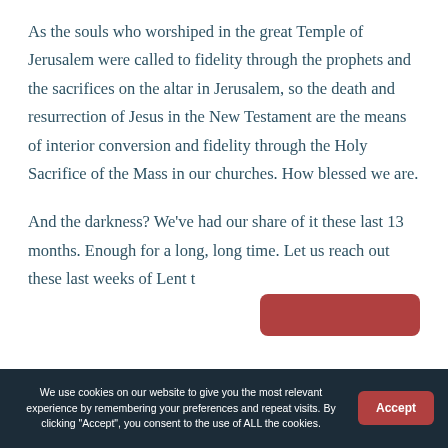As the souls who worshiped in the great Temple of Jerusalem were called to fidelity through the prophets and the sacrifices on the altar in Jerusalem, so the death and resurrection of Jesus in the New Testament are the means of interior conversion and fidelity through the Holy Sacrifice of the Mass in our churches. How blessed we are.
And the darkness? We've had our share of it these last 13 months. Enough for a long, long time. Let us reach out these last weeks of Lent t…
We use cookies on our website to give you the most relevant experience by remembering your preferences and repeat visits. By clicking "Accept", you consent to the use of ALL the cookies.